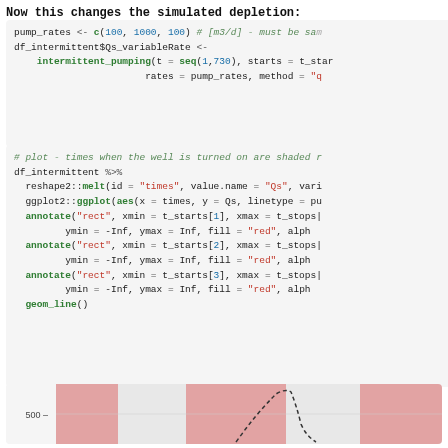Now this changes the simulated depletion:
pump_rates <- c(100, 1000, 100) # [m3/d] - must be sa...
df_intermittent$Qs_variableRate <-
  intermittent_pumping(t = seq(1,730), starts = t_sta...
                       rates = pump_rates, method = "q...
# plot - times when the well is turned on are shaded r...
df_intermittent %>%
  reshape2::melt(id = "times", value.name = "Qs", vari...
  ggplot2::ggplot(aes(x = times, y = Qs, linetype = pu...
  annotate("rect", xmin = t_starts[1], xmax = t_stops|...
         ymin = -Inf, ymax = Inf, fill = "red", alph...
  annotate("rect", xmin = t_starts[2], xmax = t_stops|...
         ymin = -Inf, ymax = Inf, fill = "red", alph...
  annotate("rect", xmin = t_starts[3], xmax = t_stops|...
         ymin = -Inf, ymax = Inf, fill = "red", alph...
  geom_line()
[Figure (continuous-plot): Partial line chart showing pump rate (Qs) vs time with red shaded regions indicating pumping periods and a dashed black line showing variable rate pumping. Y-axis shows value 500 visible.]